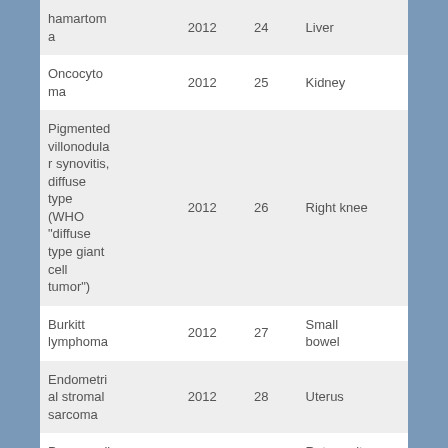| hamartoma | 2012 | 24 | Liver |
| Oncocytoma | 2012 | 25 | Kidney |
| Pigmented villonodular synovitis, diffuse type (WHO "diffuse type giant cell tumor") | 2012 | 26 | Right knee |
| Burkitt lymphoma | 2012 | 27 | Small bowel |
| Endometrial stromal sarcoma | 2012 | 28 | Uterus |
| Paraganglioma | 2012 | 29 | Retroperitoneum |
| Pancreatic |  |  |  |